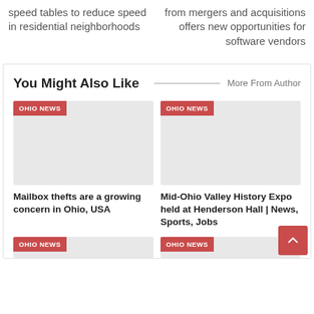speed tables to reduce speed in residential neighborhoods
from mergers and acquisitions offers new opportunities for software vendors
You Might Also Like
More From Author
[Figure (photo): Gray placeholder image with OHIO NEWS badge]
[Figure (photo): Gray placeholder image with OHIO NEWS badge]
Mailbox thefts are a growing concern in Ohio, USA
Mid-Ohio Valley History Expo held at Henderson Hall | News, Sports, Jobs
[Figure (photo): Gray placeholder with OHIO NEWS badge (bottom left)]
[Figure (photo): Gray placeholder with OHIO NEWS badge (bottom right)]